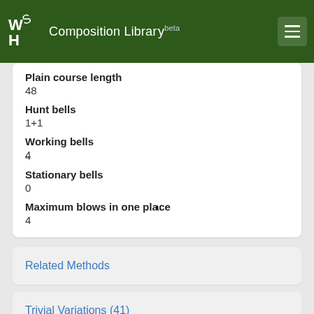Composition Library beta
Plain course length
48
Hunt bells
1+1
Working bells
4
Stationary bells
0
Maximum blows in one place
4
Related Methods
Trivial Variations (41)
Performances
References